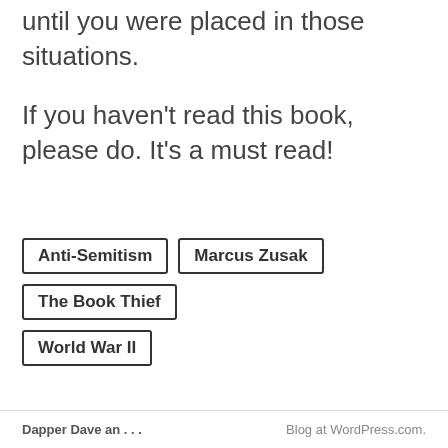until you were placed in those situations.
If you haven't read this book, please do. It's a must read!
Anti-Semitism
Marcus Zusak
The Book Thief
World War II
Dapper Dave an . . .    Blog at WordPress.com.